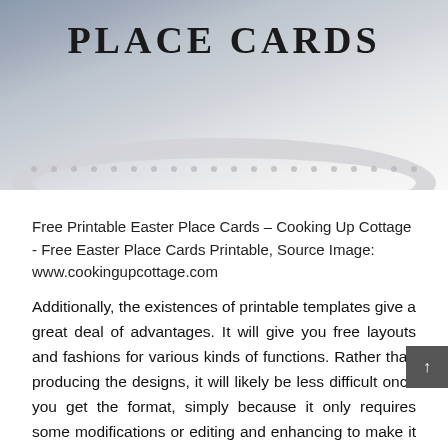[Figure (photo): Photo showing a plate with decorative dotted rim pattern, with text 'Place Cards' in large serif uppercase letters overlaid on a blurred/soft background]
Free Printable Easter Place Cards – Cooking Up Cottage - Free Easter Place Cards Printable, Source Image: www.cookingupcottage.com
Additionally, the existences of printable templates give a great deal of advantages. It will give you free layouts and fashions for various kinds of functions. Rather than producing the designs, it will likely be less difficult once you get the format, simply because it only requires some modifications or editing and enhancing to make it as what you require. Moreover, it is actually for free. You do not have to pay any cents for that template.
Free Easter Place Cards Printable is better option once you